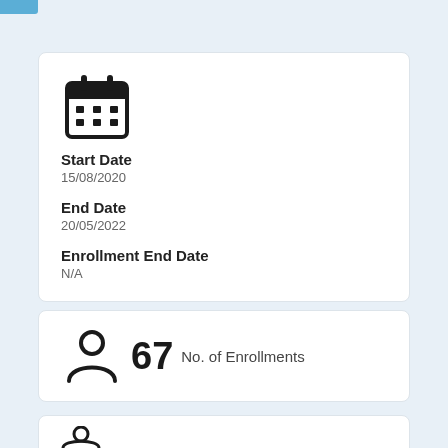Start Date: 15/08/2020 | End Date: 20/05/2022 | Enrollment End Date: N/A
67 No. of Enrollments